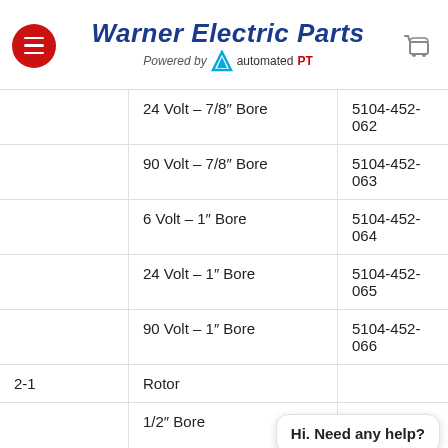Warner Electric Parts – Powered by automated PT
| Item | Description | Part Number |
| --- | --- | --- |
|  | 24 Volt – 7/8″ Bore | 5104-452-062 |
|  | 90 Volt – 7/8″ Bore | 5104-452-063 |
|  | 6 Volt – 1″ Bore | 5104-452-064 |
|  | 24 Volt – 1″ Bore | 5104-452-065 |
|  | 90 Volt – 1″ Bore | 5104-452-066 |
| 2-1 | Rotor |  |
|  | 1/2″ Bore | 5104-751-043 |
|  | 5/8″ Bore | 5104-751-044 |